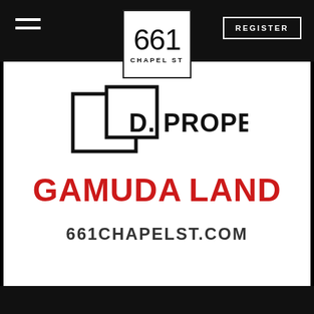[Figure (logo): 661 Chapel St logo in white box with black border, displayed in black header bar]
REGISTER
[Figure (logo): D. PROPERTY logo with overlapping square outline]
GAMUDA LAND
661CHAPELST.COM